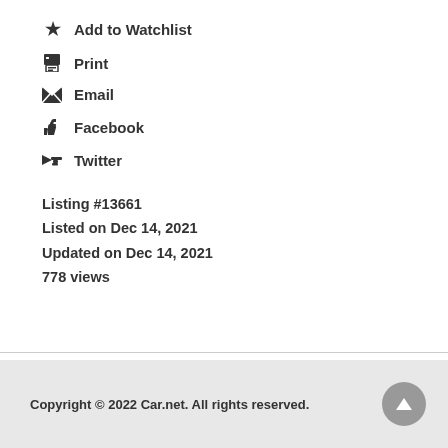★ Add to Watchlist
🖨 Print
✉ Email
👍 Facebook
📣 Twitter
Listing #13661
Listed on Dec 14, 2021
Updated on Dec 14, 2021
778 views
Copyright © 2022 Car.net. All rights reserved.